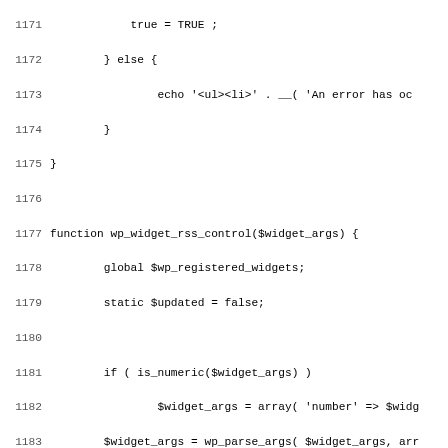Code listing lines 1171-1203 showing PHP function wp_widget_rss_control